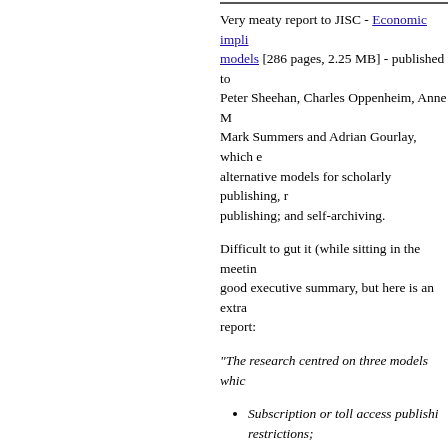Very meaty report to JISC - Economic impli models [286 pages, 2.25 MB] - published too Peter Sheehan, Charles Oppenheim, Anne M Mark Summers and Adrian Gourlay, which e alternative models for scholarly publishing, r publishing; and self-archiving.
Difficult to gut it (while sitting in the meetin good executive summary, but here is an extra report:
"The research centred on three models whic
Subscription or toll access publishi restrictions;
Open access publishing where acce the authors' side; and
Open access self-archiving where d repositories, making it freely availa
In their report, Houghton et al. looked beyor models and examined the additional cost-ber to research findings.